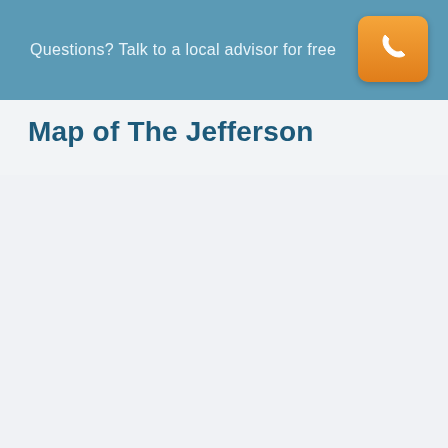Questions? Talk to a local advisor for free
Map of The Jefferson
[Figure (map): Map area placeholder for The Jefferson location map]